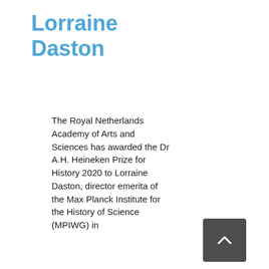Lorraine Daston
The Royal Netherlands Academy of Arts and Sciences has awarded the Dr A.H. Heineken Prize for History 2020 to Lorraine Daston, director emerita of the Max Planck Institute for the History of Science (MPIWG) in
[Figure (other): Dark grey scroll-to-top button with upward-pointing chevron arrow]